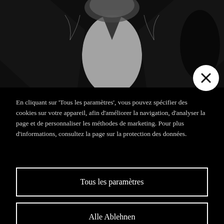[Figure (photo): Black and white photo of a person in formal attire, torso visible, grainy high-contrast image]
En cliquant sur 'Tous les paramètres', vous pouvez spécifier des cookies sur votre appareil, afin d'améliorer la navigation, d'analyser la page et de personnaliser les méthodes de marketing. Pour plus d'informations, consultez la page sur la protection des données.
Tous les paramètres
Alle Ablehnen
Einstellungen